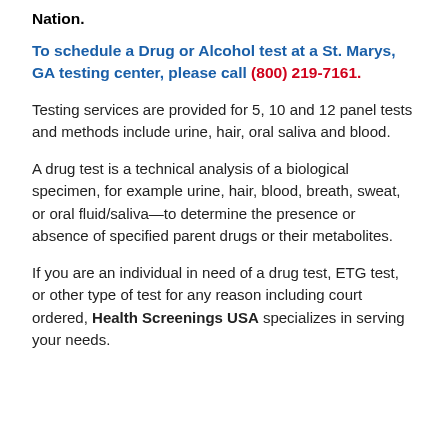Nation.
To schedule a Drug or Alcohol test at a St. Marys, GA testing center, please call (800) 219-7161.
Testing services are provided for 5, 10 and 12 panel tests and methods include urine, hair, oral saliva and blood.
A drug test is a technical analysis of a biological specimen, for example urine, hair, blood, breath, sweat, or oral fluid/saliva—to determine the presence or absence of specified parent drugs or their metabolites.
If you are an individual in need of a drug test, ETG test, or other type of test for any reason including court ordered, Health Screenings USA specializes in serving your needs.